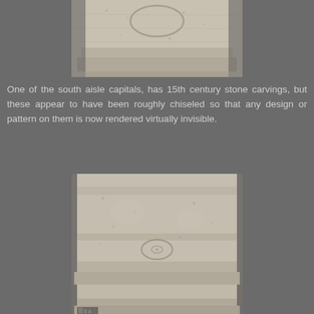[Figure (photo): Close-up photograph of a stone column capital with rough-chiseled 15th century carvings, showing the top portion with decorative band and arch motif.]
One of the south aisle capitals, has 15th century stone carvings, but these appear to have been roughly chiseled so that any design or pattern on them is now rendered virtually invisible.
[Figure (photo): Close-up photograph of a stone column capital showing the cylindrical drum with rough textured surface and faint carved circular motif, with decorative band below.]
[Figure (photo): Partial view of another stone capital at the bottom of the page, partially cropped.]